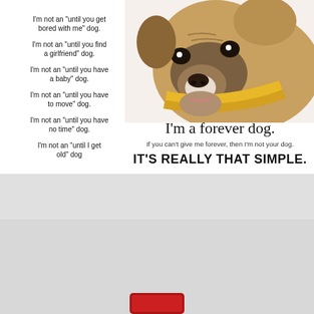[Figure (photo): Boxer dog lying down wearing a yellow bandana, viewed from the front, white background]
I'm not an "until you get bored with me" dog.

I'm not an "until you find a girlfriend" dog.

I'm not an "until you have a baby" dog.

I'm not an "until you have to move" dog.

I'm not an "until you have no time" dog.

I'm not an "until I get old" dog
I'm a forever dog.
If you can't give me forever, then I'm not your dog.
IT'S REALLY THAT SIMPLE.
[Figure (logo): Pet Sitters Associates logo with cartoon dog face (yellow and black) and text: Member & Insured Through Pet Sitters Associates]